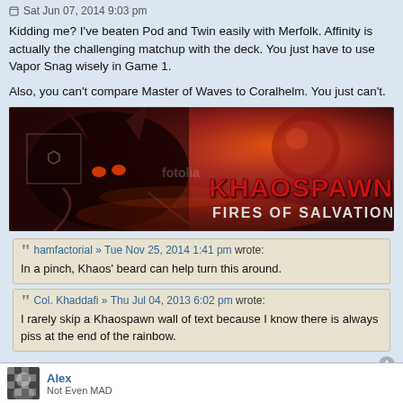Sat Jun 07, 2014 9:03 pm
Kidding me? I've beaten Pod and Twin easily with Merfolk. Affinity is actually the challenging matchup with the deck. You just have to use Vapor Snag wisely in Game 1.
Also, you can't compare Master of Waves to Coralhelm. You just can't.
[Figure (illustration): Khaospawn: Fires of Salvation promotional banner — a fantasy game banner featuring a demon/monster creature with horns on a fiery red background, with the text KHAOSPAWN and FIRES OF SALVATION]
hamfactorial » Tue Nov 25, 2014 1:41 pm wrote: In a pinch, Khaos' beard can help turn this around.
Col. Khaddafi » Thu Jul 04, 2013 6:02 pm wrote: I rarely skip a Khaospawn wall of text because I know there is always piss at the end of the rainbow.
Alex
Not Even MAD